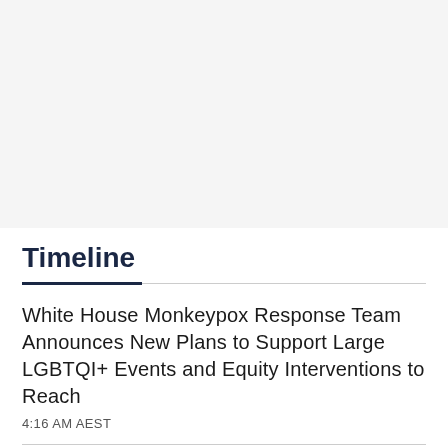Timeline
White House Monkeypox Response Team Announces New Plans to Support Large LGBTQI+ Events and Equity Interventions to Reach
4:16 AM AEST
Ministerial statement on provincial and